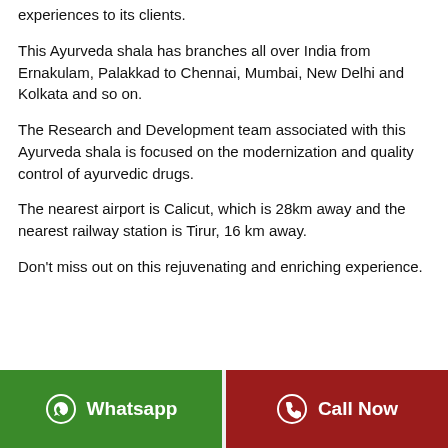experiences to its clients.
This Ayurveda shala has branches all over India from Ernakulam, Palakkad to Chennai, Mumbai, New Delhi and Kolkata and so on.
The Research and Development team associated with this Ayurveda shala is focused on the modernization and quality control of ayurvedic drugs.
The nearest airport is Calicut, which is 28km away and the nearest railway station is Tirur, 16 km away.
Don't miss out on this rejuvenating and enriching experience.
Whatsapp | Call Now